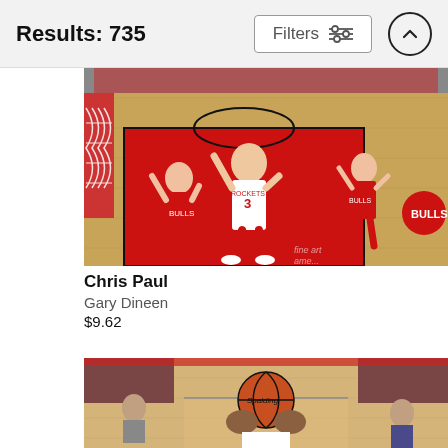Results: 735
[Figure (photo): Basketball player Chris Paul wearing Houston Rockets jersey #3 driving toward the basket at the Chicago Bulls arena, with Bulls players defending. Red painted key area visible with basketball hoop and net in foreground. Fine Art America watermark in bottom right.]
Chris Paul
Gary Dineen
$9.62
[Figure (photo): Basketball game photo showing a player holding a Spalding basketball above their head at the free throw line, with crowd in background and red arena decor visible.]